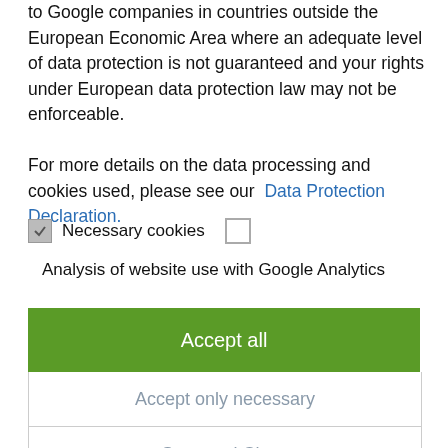to Google companies in countries outside the European Economic Area where an adequate level of data protection is not guaranteed and your rights under European data protection law may not be enforceable.

For more details on the data processing and cookies used, please see our Data Protection Declaration.
☑ Necessary cookies  ☐
Analysis of website use with Google Analytics
Accept all
Accept only necessary
Save and Close